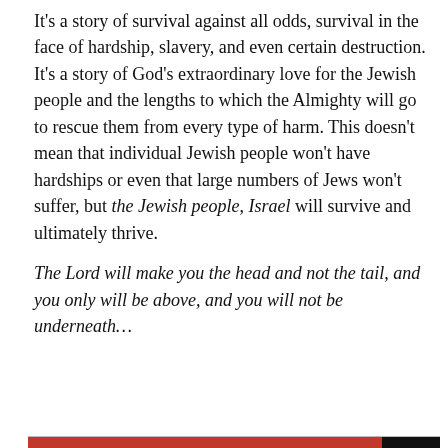It's a story of survival against all odds, survival in the face of hardship, slavery, and even certain destruction. It's a story of God's extraordinary love for the Jewish people and the lengths to which the Almighty will go to rescue them from every type of harm. This doesn't mean that individual Jewish people won't have hardships or even that large numbers of Jews won't suffer, but the Jewish people, Israel will survive and ultimately thrive.
The Lord will make you the head and not the tail, and you only will be above, and you will not be underneath…
Privacy & Cookies: This site uses cookies. By continuing to use this website, you agree to their use.
To find out more, including how to control cookies, see here: Cookie Policy
Close and accept